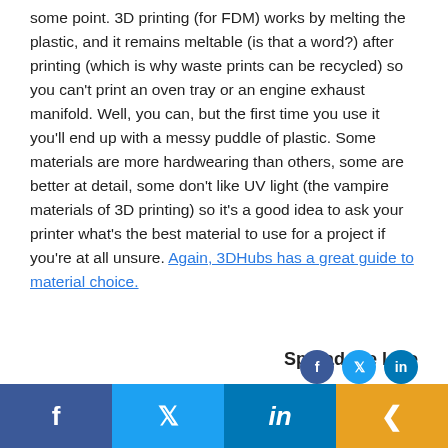some point.  3D printing (for FDM) works by melting the plastic, and it remains meltable (is that a word?) after printing (which is why waste prints can be recycled) so you can't print an oven tray or an engine exhaust manifold.  Well, you can, but the first time you use it you'll end up with a messy puddle of plastic.  Some materials are more hardwearing than others, some are better at detail, some don't like UV light (the vampire materials of 3D printing) so it's a good idea to ask your printer what's the best material to use for a project if you're at all unsure.  Again, 3DHubs has a great guide to material choice.
Spread the love
[Figure (infographic): Social media share bar with Facebook, Twitter, LinkedIn, and share buttons]